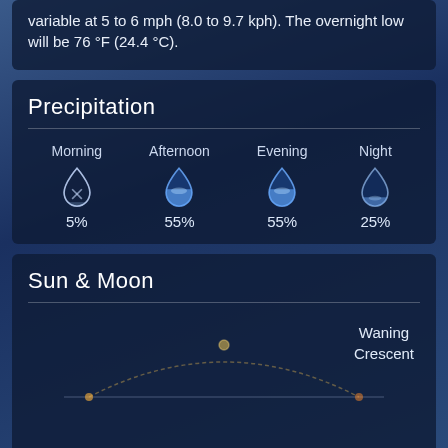variable at 5 to 6 mph (8.0 to 9.7 kph). The overnight low will be 76 °F (24.4 °C).
Precipitation
[Figure (infographic): Precipitation chance icons for Morning (5%), Afternoon (55%), Evening (55%), Night (25%) shown as water drop icons with fill levels indicating probability]
Sun & Moon
Waning Crescent
5:36 AM
6:00 PM
Wind & Pressure